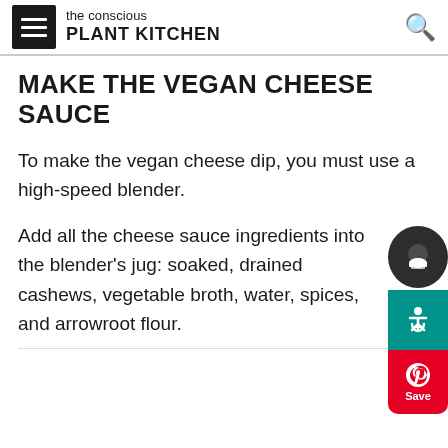the conscious PLANT KITCHEN
MAKE THE VEGAN CHEESE SAUCE
To make the vegan cheese dip, you must use a high-speed blender.
Add all the cheese sauce ingredients into the blender's jug: soaked, drained cashews, vegetable broth, water, spices, and arrowroot flour.